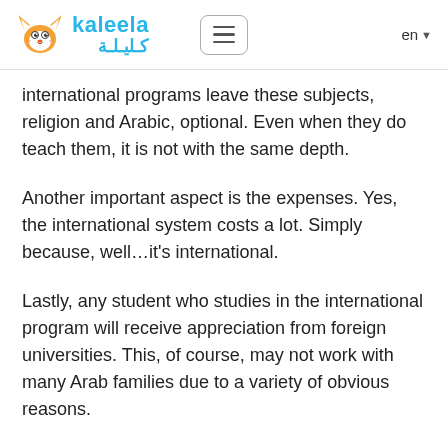kaleela / كليلة
international programs leave these subjects, religion and Arabic, optional. Even when they do teach them, it is not with the same depth.
Another important aspect is the expenses. Yes, the international system costs a lot. Simply because, well…it's international.
Lastly, any student who studies in the international program will receive appreciation from foreign universities. This, of course, may not work with many Arab families due to a variety of obvious reasons.